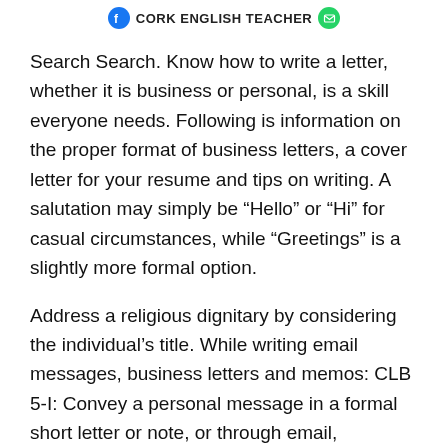CORK ENGLISH TEACHER
Search Search. Know how to write a letter, whether it is business or personal, is a skill everyone needs. Following is information on the proper format of business letters, a cover letter for your resume and tips on writing. A salutation may simply be “Hello” or “Hi” for casual circumstances, while “Greetings” is a slightly more formal option.
Address a religious dignitary by considering the individual’s title. While writing email messages, business letters and memos: CLB 5-I: Convey a personal message in a formal short letter or note, or through email, expressing and responding to.
So let’s go over the two most important uses for commas in business emails. Commas and Salutations. A business email starts with a salutation, and a salutation ends with a